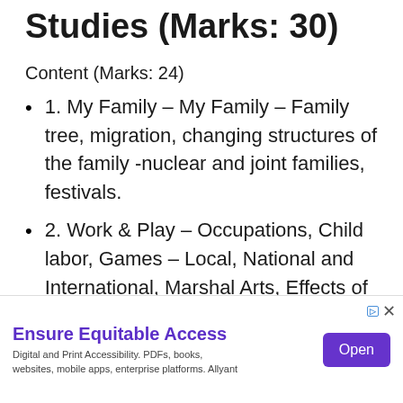Studies (Marks: 30)
Content (Marks: 24)
1. My Family – My Family – Family tree, migration, changing structures of the family -nuclear and joint families, festivals.
2. Work & Play – Occupations, Child labor, Games – Local, National and International, Marshal Arts, Effects of